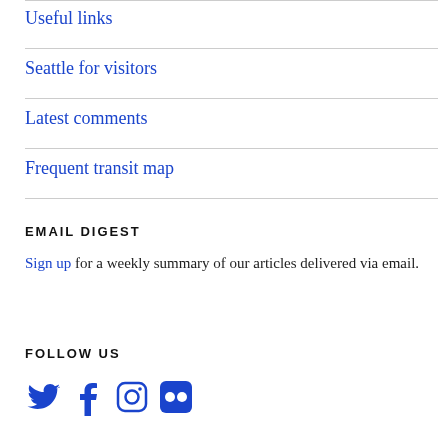Useful links
Seattle for visitors
Latest comments
Frequent transit map
EMAIL DIGEST
Sign up for a weekly summary of our articles delivered via email.
FOLLOW US
[Figure (illustration): Social media icons: Twitter bird, Facebook f, Instagram camera, Flickr dots]